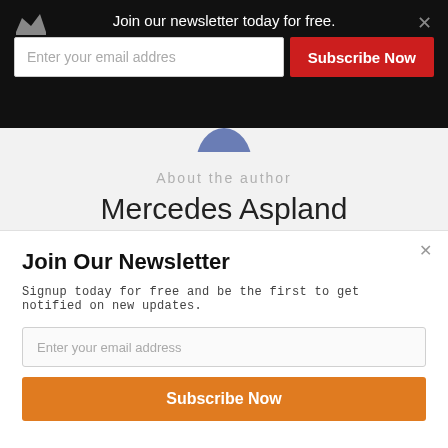Join our newsletter today for free.
Enter your email addres
Subscribe Now
About the author
Mercedes Aspland
Mercedes is a Yoga Sports Coach with experiences
Join Our Newsletter
Signup today for free and be the first to get notified on new updates.
Enter your email address
Subscribe Now